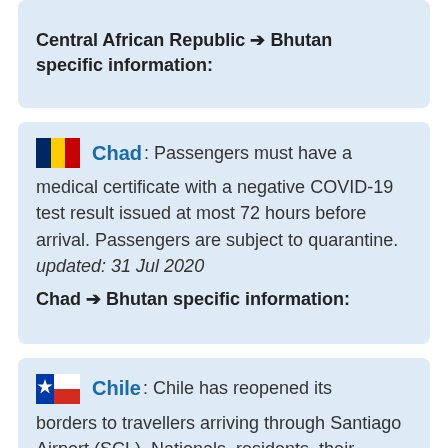Central African Republic → Bhutan specific information:
Chad: Passengers must have a medical certificate with a negative COVID-19 test result issued at most 72 hours before arrival. Passengers are subject to quarantine. updated: 31 Jul 2020
Chad → Bhutan specific information:
Chile: Chile has reopened its borders to travellers arriving through Santiago Airport (SCL). Nationals, residents, their parents, spouses, and children may arrive through any port of entry. Arriving passengers must have proof of a negative COVID-19 test